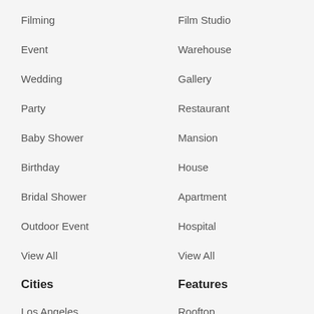Filming
Film Studio
Event
Warehouse
Wedding
Gallery
Party
Restaurant
Baby Shower
Mansion
Birthday
House
Bridal Shower
Apartment
Outdoor Event
Hospital
View All
View All
Cities
Features
Los Angeles
Rooftop
New York
Ballroom
Atlanta
Outdoor Space